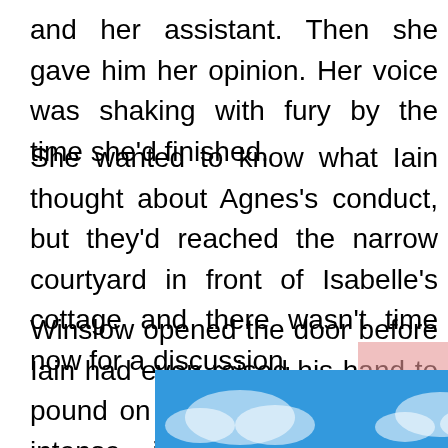and her assistant. Then she gave him her opinion. Her voice was shaking with fury by the time she'd finished.

She wanted to know what Iain thought about Agnes's conduct, but they'd reached the narrow courtyard in front of Isabelle's cottage and there wasn't time now for a discussion.

Winslow opened the door before Iain had even raised his hand to pound on it. A wave of heat, so intense it felt like it was scorching Judith's face, poured through the opening. Perspiration covered Winslow's brow and fat drops of sweat rolled down from h

It was Judith